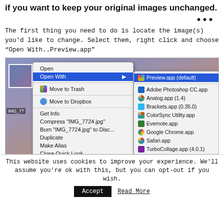if you want to keep your original images unchanged.
...
The first thing you need to do is locate the image(s) you'd like to change. Select them, right click and choose “Open With..Preview.app”
[Figure (screenshot): macOS Finder context menu showing 'Open With' submenu with Preview.app (default) highlighted, and other apps listed including Adobe Photoshop CC.app, Analog.app (1.4), Brackets.app (0.35.0), ColorSync Utility.app, Evernote.app, Google Chrome.app, Safari.app, TurboCollage.app (4.0.1). Background shows a beach/sunset image.]
This website uses cookies to improve your experience. We'll assume you're ok with this, but you can opt-out if you wish.
Accept   Read More